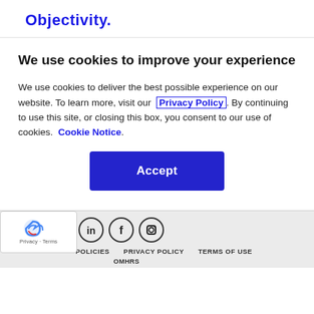Objectivity.
We use cookies to improve your experience
We use cookies to deliver the best possible experience on our website. To learn more, visit our Privacy Policy. By continuing to use this site, or closing this box, you consent to our use of cookies. Cookie Notice.
POLICIES   PRIVACY POLICY   TERMS OF USE